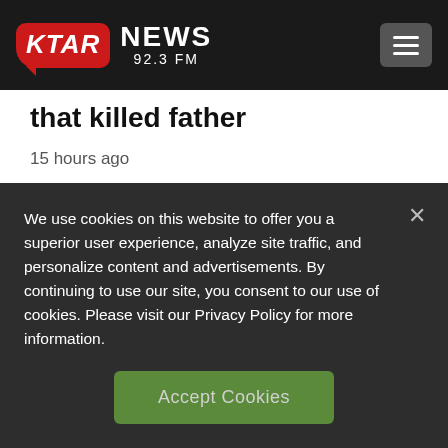KTAR NEWS 92.3 FM
that killed father
15 hours ago
Associated Press
We use cookies on this website to offer you a superior user experience, analyze site traffic, and personalize content and advertisements. By continuing to use our site, you consent to our use of cookies. Please visit our Privacy Policy for more information.
Accept Cookies